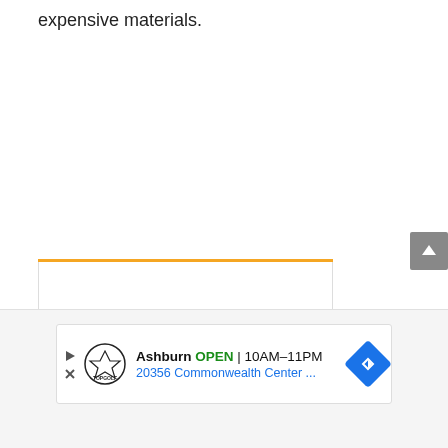expensive materials.
[Figure (screenshot): Advertisement banner for Topgolf Ashburn showing logo, OPEN status, hours 10AM-11PM, address 20356 Commonwealth Center ..., navigation arrow icon, and play/close icons. An orange top bar above a white box is visible above the ad.]
[Figure (other): Gray scroll-to-top button on the right side]